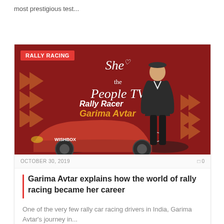most prestigious test...
[Figure (photo): Rally racing card image showing a woman (Garima Avtar) in racing attire standing next to a red Mercedes car on a dark red background with 'She the People TV' logo and 'Rally Racer Garima Avtar' text. A 'RALLY RACING' badge is in the top-left corner.]
OCTOBER 30, 2019   0 0
Garima Avtar explains how the world of rally racing became her career
One of the very few rally car racing drivers in India, Garima Avtar's journey in...